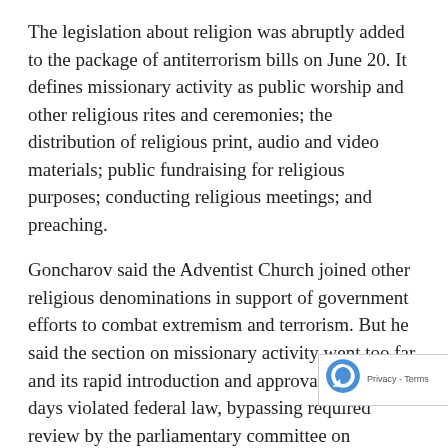The legislation about religion was abruptly added to the package of antiterrorism bills on June 20. It defines missionary activity as public worship and other religious rites and ceremonies; the distribution of religious print, audio and video materials; public fundraising for religious purposes; conducting religious meetings; and preaching.
Goncharov said the Adventist Church joined other religious denominations in support of government efforts to combat extremism and terrorism. But he said the section on missionary activity went too far and its rapid introduction and approval in just three days violated federal law, bypassing required review by the parliamentary committee on religious organizations and with representatives of religious organizations that would be directly affected by the bill.
“Russia has always been a multi-ethnic and multi…